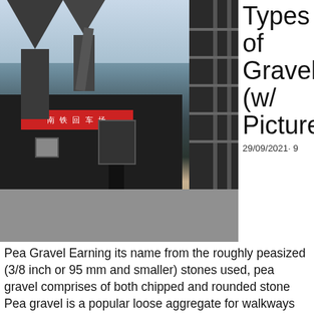[Figure (photo): Industrial gravel/concrete processing facility with machinery, hoppers, and scaffolding structures. A worker is visible near the equipment. Red Chinese signage is visible on the building facade.]
Types of Gravel (w/ Pictures
29/09/2021· 9
Pea Gravel Earning its name from the roughly peasized (3/8 inch or 95 mm and smaller) stones used, pea gravel comprises of both chipped and rounded stone Pea gravel is a popular loose aggregate for walkways and driveways It can also be used in aggregate concreteBuilding Materials Types Of Gravel construction materials stone and ceramics,stone materials are often used for construction because they are strong, also find them in different sizes and fragments for example sand and gravel more and more today to make parts of the different types of transportation and structuresquality construction materials,pennsy supply is the largest producer ofBuilding Materials Types Of GravelTop 10 Types Of Building